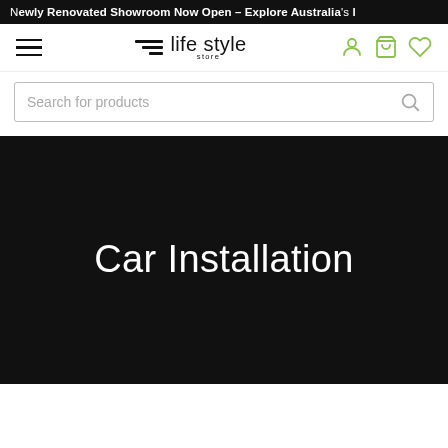Newly Renovated Showroom Now Open – Explore Australia's l
[Figure (logo): Life Style Store logo with three diagonal lines and text 'life style store']
Search for products
Car Installation